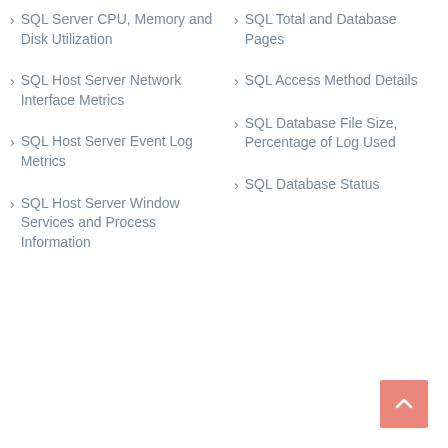SQL Server CPU, Memory and Disk Utilization
SQL Host Server Network Interface Metrics
SQL Host Server Event Log Metrics
SQL Host Server Window Services and Process Information
SQL Total and Database Pages
SQL Access Method Details
SQL Database File Size, Percentage of Log Used
SQL Database Status